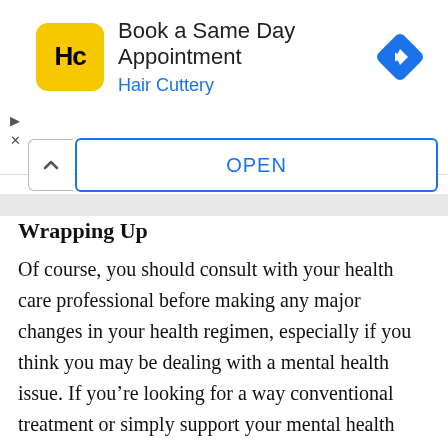[Figure (infographic): Hair Cuttery advertisement banner with HC logo, 'Book a Same Day Appointment' headline, 'Hair Cuttery' subtitle in blue, and a blue diamond navigation icon. Includes a play triangle and X close controls, and an OPEN button with blue border.]
Wrapping Up
Of course, you should consult with your health care professional before making any major changes in your health regimen, especially if you think you may be dealing with a mental health issue. If you’re looking for a way conventional treatment or simply support your mental health daily, these alternative therapies and practices can bring some extra joy and balance to your life.